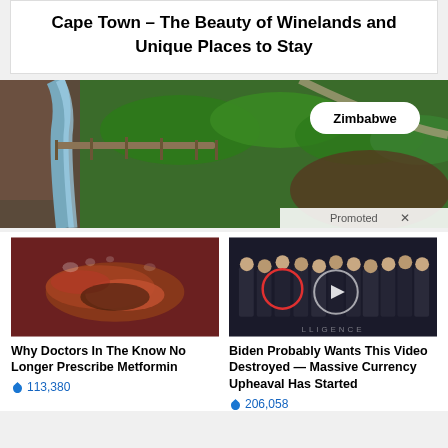Cape Town – The Beauty of Winelands and Unique Places to Stay
[Figure (photo): Aerial view of Zimbabwe landscape with river, bridge and green terrain. Label reads 'Zimbabwe'. A 'Promoted X' bar appears at the bottom right.]
[Figure (photo): Close-up medical image of organ tissue, possibly intestinal or pancreatic.]
Why Doctors In The Know No Longer Prescribe Metformin
🔥 113,380
[Figure (photo): Group of people in dark suits standing at what appears to be the CIA headquarters floor. One person is circled in red, and a video play button overlay is visible.]
Biden Probably Wants This Video Destroyed — Massive Currency Upheaval Has Started
🔥 206,058